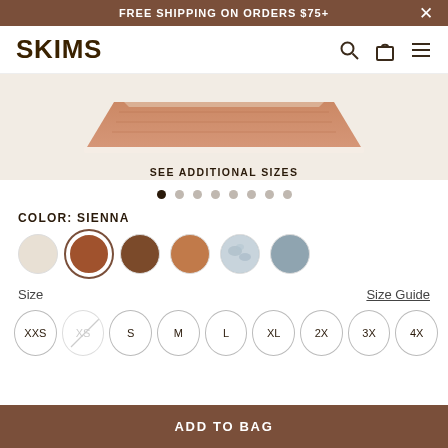FREE SHIPPING ON ORDERS $75+
[Figure (logo): SKIMS logo in bold dark brown text]
[Figure (photo): Product image of sheer fabric item, partially visible at top]
SEE ADDITIONAL SIZES
[Figure (other): Pagination dots: 8 dots, first one filled dark]
COLOR: SIENNA
[Figure (other): Color swatches: cream (unselected), sienna (selected), brown, caramel, marble/patterned, slate blue]
Size
Size Guide
XXS  XS  S  M  L  XL  2X  3X  4X
ADD TO BAG